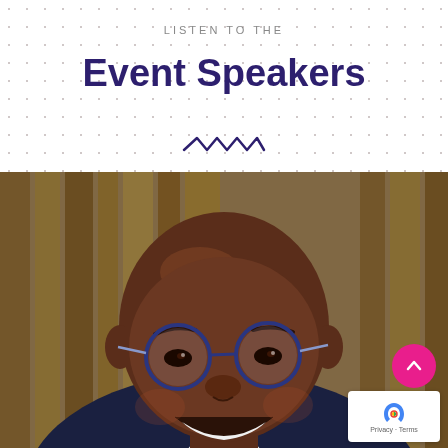LISTEN TO THE
Event Speakers
[Figure (illustration): Decorative wavy/zigzag line in dark purple color used as a section divider]
[Figure (photo): Portrait photo of a smiling bald Black man wearing round blue-framed glasses and a dark suit with white shirt, photographed against a blurred background of what appears to be books or wooden panels]